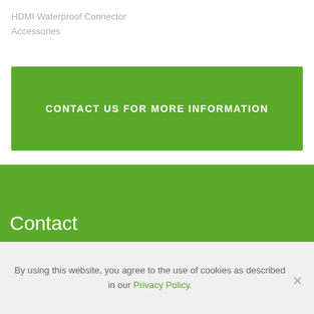HDMI Waterproof Connector
Accessories
CONTACT US FOR MORE INFORMATION
Contact
By using this website, you agree to the use of cookies as described in our Privacy Policy.